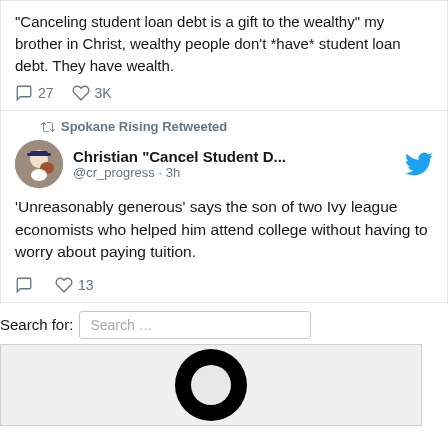"Canceling student loan debt is a gift to the wealthy" my brother in Christ, wealthy people don't *have* student loan debt. They have wealth.
27 replies, 3K likes
Spokane Rising Retweeted
Christian "Cancel Student D..." @cr_progress · 3h
'Unreasonably generous' says the son of two Ivy league economists who helped him attend college without having to worry about paying tuition.
13 likes
Search for:
[Figure (logo): Large black circular ring logo on grey background]